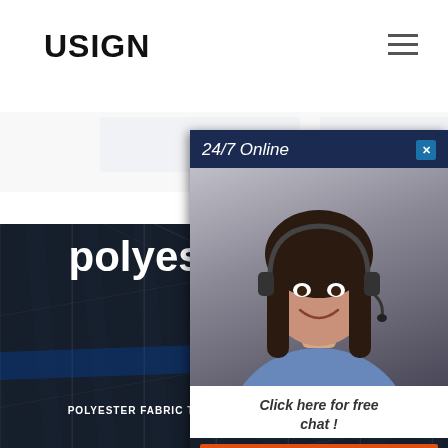USIGN
[Figure (photo): Dark industrial warehouse interior with structural beams and grid pattern, used as hero background]
polyester fabric that machine will not stitch
HOME  /
POLYESTER FABRIC THAT MACHINE WILL NOT STITCH
[Figure (photo): 24/7 Online chat widget showing a woman wearing a headset, with 'Click here for free chat!' text and an orange QUOTATION button]